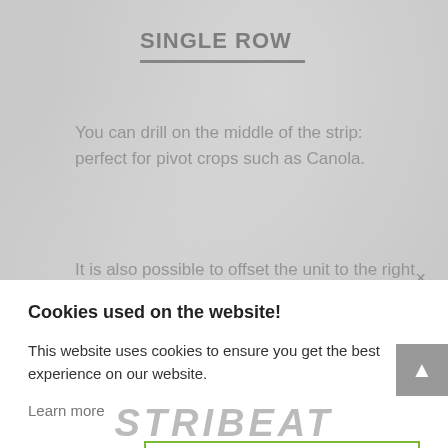SINGLE ROW
You can drill on the middle of the strip: perfect for pivot crops such as Canola. It is also possible to offset the unit to the right
×
Cookies used on the website!
This website uses cookies to ensure you get the best experience on our website.
Learn more
Decline
Accept
[Figure (logo): Striped italic logo text at bottom of page, light gray, reading STRIBEAT or similar brand name]
▲